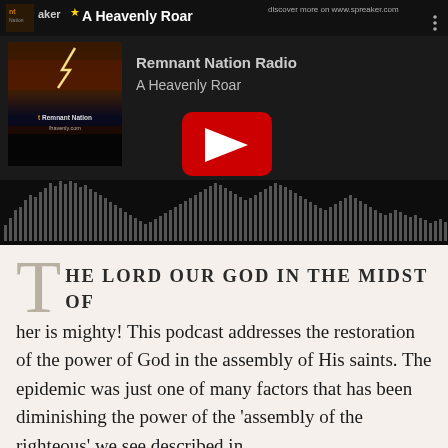[Figure (screenshot): Spreaker / YouTube podcast player embed showing 'Remnant Nation Radio - A Heavenly Roar' with album art, YouTube play button, and audio waveform visualization. Top bar shows Spreaker branding and episode title.]
THE LORD OUR GOD IN THE MIDST OF her is mighty! This podcast addresses the restoration of the power of God in the assembly of His saints. The epidemic was just one of many factors that has been diminishing the power of the 'assembly of the righteous' we see described in